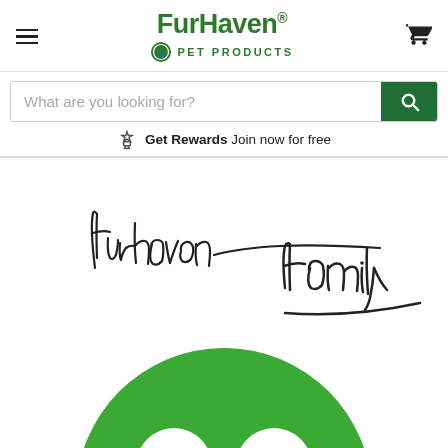FurHaven Pet Products
What are you looking for?
Get Rewards Join now for free
[Figure (illustration): Handwritten cursive signature reading 'Furhaven Family']
[Figure (logo): FurHaven green circular logo mark (bottom, partially visible)]